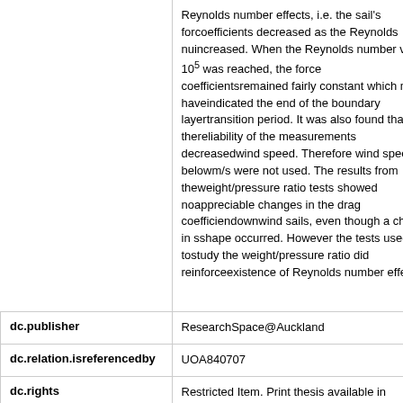| Field | Value |
| --- | --- |
|  | Reynolds number effects, i.e. the sail's force coefficients decreased as the Reynolds number increased. When the Reynolds number value of 6x 105 was reached, the force coefficients remained fairly constant which may have indicated the end of the boundary layer transition period. It was also found that the reliability of the measurements decreased with wind speed. Therefore wind speeds below m/s were not used. The results from the weight/pressure ratio tests showed no appreciable changes in the drag coefficients of downwind sails, even though a change in sail shape occurred. However the tests used to study the weight/pressure ratio did reinforce the existence of Reynolds number effects. |
| dc.publisher | ResearchSpace@Auckland |
| dc.relation.isreferencedby | UOA840707 |
| dc.rights | Restricted Item. Print thesis available in the University of Auckland Library or may be |